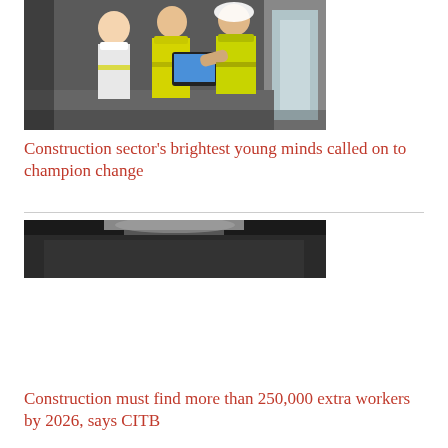[Figure (photo): Three young people in yellow hi-vis vests and hard hats looking at a tablet device on a construction site]
Construction sector’s brightest young minds called on to champion change
[Figure (photo): Partially visible image, dark strip showing what appears to be a construction or indoor setting]
Construction must find more than 250,000 extra workers by 2026, says CITB